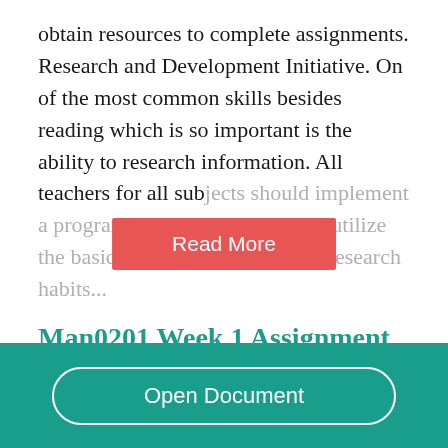obtain resources to complete assignments. Research and Development Initiative. On of the most common skills besides reading which is so important is the ability to research information. All teachers for all subjects should implement a program that drives students to utilize the basic skills to establish good research habits...
[Figure (other): Red 'Read More' button overlaid on faded text]
Man0201 Week 1 Assignment Analysis
[Figure (other): Teal footer bar with 'Open Document' button]